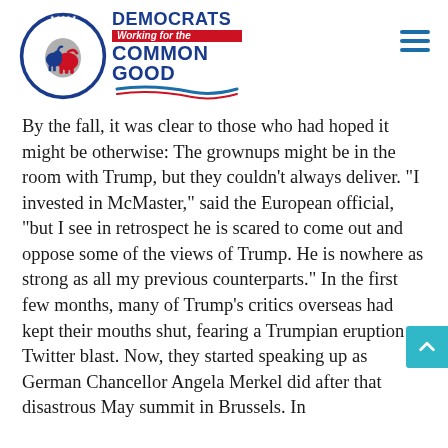[Figure (logo): Cheshire County Democrats circular badge logo with donkey and elephant, alongside 'Democrats Working for the Common Good' text with swoosh, and hamburger menu icon]
By the fall, it was clear to those who had hoped it might be otherwise: The grownups might be in the room with Trump, but they couldn't always deliver. "I invested in McMaster," said the European official, "but I see in retrospect he is scared to come out and oppose some of the views of Trump. He is nowhere as strong as all my previous counterparts." In the first few months, many of Trump's critics overseas had kept their mouths shut, fearing a Trumpian eruption or Twitter blast. Now, they started speaking up as German Chancellor Angela Merkel did after that disastrous May summit in Brussels. In